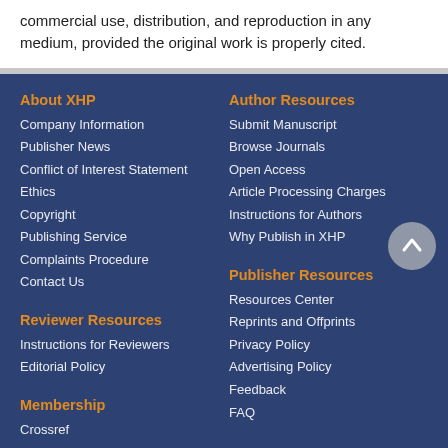commercial use, distribution, and reproduction in any medium, provided the original work is properly cited.
About XHP
Company Information
Publisher News
Conflict of Interest Statement
Ethics
Copyright
Publishing Service
Complaints Procedure
Contact Us
Author Resources
Submit Manuscript
Browse Journals
Open Access
Article Processing Charges
Instructions for Authors
Why Publish in XHP
Reviewer Resources
Instructions for Reviewers
Editorial Policy
Membership
Crossref
Publisher Resources
Resources Center
Reprints and Offprints
Privacy Policy
Advertising Policy
Feedback
FAQ